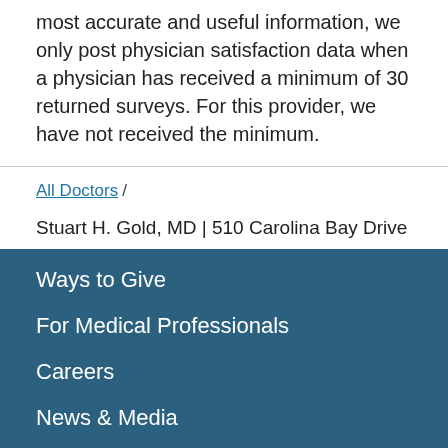most accurate and useful information, we only post physician satisfaction data when a physician has received a minimum of 30 returned surveys. For this provider, we have not received the minimum.
All Doctors /
Stuart H. Gold, MD | 510 Carolina Bay Drive
Ways to Give
For Medical Professionals
Careers
News & Media